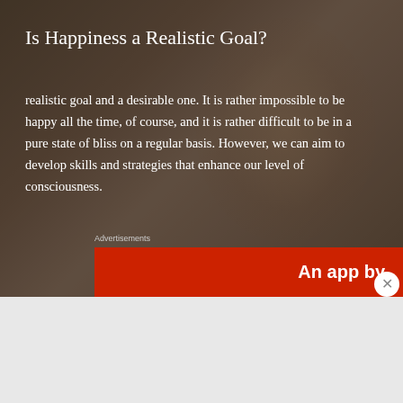[Figure (photo): Background photo of a blonde woman's face with dark overlay, used as article header image]
Is Happiness a Realistic Goal?
realistic goal and a desirable one. It is rather impossible to be happy all the time, of course, and it is rather difficult to be in a pure state of bliss on a regular basis. However, we can aim to develop skills and strategies that enhance our level of consciousness.
Advertisements
[Figure (screenshot): Partial red advertisement banner showing text 'An app by' in white bold text]
Advertisements
[Figure (screenshot): DuckDuckGo advertisement banner with orange-red background showing a smartphone, text: Search, browse, and email with more privacy. All in One Free App. DuckDuckGo.]